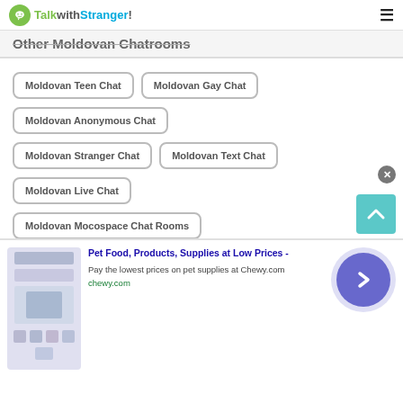TalkwithStranger!
Other Moldovan Chatrooms
Moldovan Teen Chat
Moldovan Gay Chat
Moldovan Anonymous Chat
Moldovan Stranger Chat
Moldovan Text Chat
Moldovan Live Chat
Moldovan Mocospace Chat Rooms
Moldovan Omegle Random Chat
[Figure (screenshot): Advertisement banner: Pet Food, Products, Supplies at Low Prices - chewy.com]
Pet Food, Products, Supplies at Low Prices -
Pay the lowest prices on pet supplies at Chewy.com
chewy.com